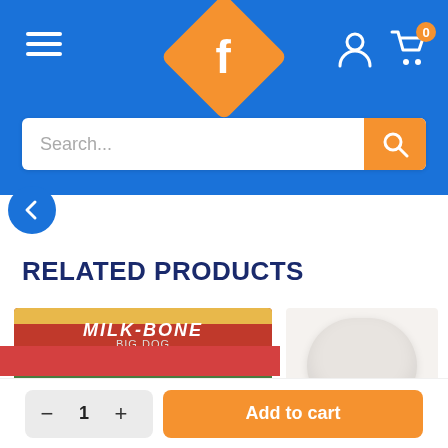[Figure (screenshot): Blue navigation header with hamburger menu, orange diamond 'f' logo, user and cart icons]
[Figure (screenshot): Search bar with orange search button]
[Figure (screenshot): Back navigation button (left arrow in blue circle)]
RELATED PRODUCTS
[Figure (photo): Milk-Bone dog treats Club pack box in red packaging]
[Figure (photo): White round product partially visible on right side]
[Figure (screenshot): Quantity selector with minus, 1, plus buttons and orange Add to cart button]
[Figure (photo): Partial product image at bottom of page]